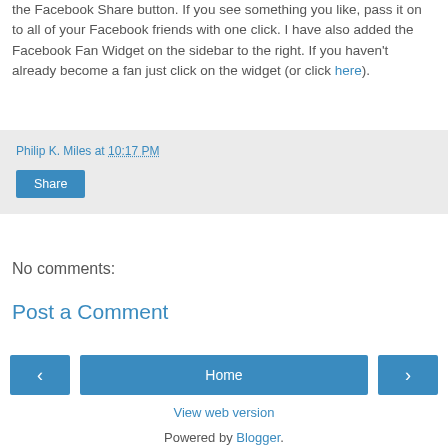the Facebook Share button. If you see something you like, pass it on to all of your Facebook friends with one click. I have also added the Facebook Fan Widget on the sidebar to the right. If you haven't already become a fan just click on the widget (or click here).
Philip K. Miles at 10:17 PM
Share
No comments:
Post a Comment
‹  Home  ›
View web version
Powered by Blogger.